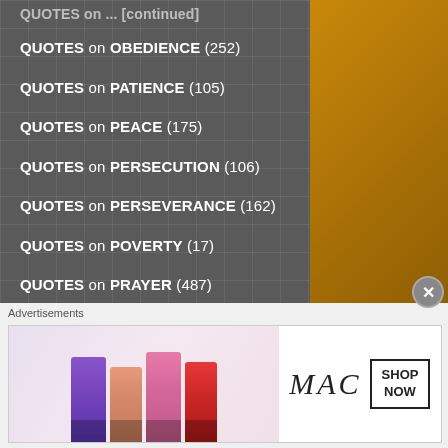QUOTES on OBEDIENCE (252)
QUOTES on PATIENCE (105)
QUOTES on PEACE (175)
QUOTES on PERSECUTION (106)
QUOTES on PERSEVERANCE (162)
QUOTES on POVERTY (17)
QUOTES on PRAYER (487)
QUOTES on PRIDE (106)
QUOTES on PRIESTS, the PRIESTHOOD and CONSECRATED LIFE (23)
QUOTES on PURITY (43)
[Figure (screenshot): Advertisement banner showing MAC cosmetics lipsticks with SHOP NOW button]